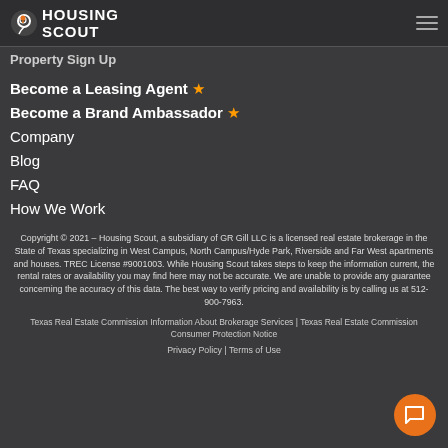Housing Scout / Property Sign Up
Become a Leasing Agent ★
Become a Brand Ambassador ★
Company
Blog
FAQ
How We Work
Copyright © 2021 – Housing Scout, a subsidiary of GR Gill LLC is a licensed real estate brokerage in the State of Texas specializing in West Campus, North Campus/Hyde Park, Riverside and Far West apartments and houses. TREC License #9001003. While Housing Scout takes steps to keep the information current, the rental rates or availability you may find here may not be accurate. We are unable to provide any guarantee concerning the accuracy of this data. The best way to verify pricing and availability is by calling us at 512-900-7963.
Texas Real Estate Commission Information About Brokerage Services | Texas Real Estate Commission Consumer Protection Notice
Privacy Policy | Terms of Use